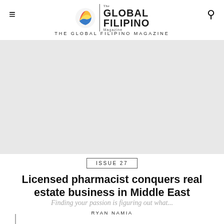THE GLOBAL FILIPINO MAGAZINE
[Figure (other): Article cover image area (large photo placeholder)]
ISSUE 27
Licensed pharmacist conquers real estate business in Middle East
Finding your passion is figuring out what...
RYAN NAMIA